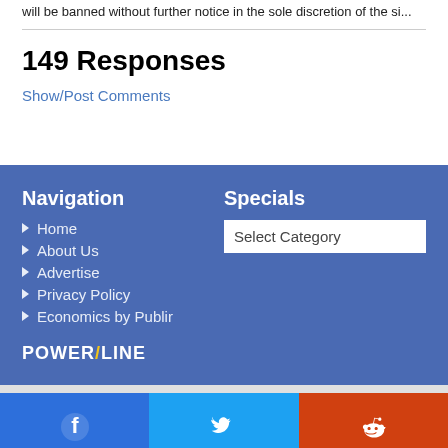will be banned without further notice in the sole discretion of the si...
149 Responses
Show/Post Comments
Navigation
Home
About Us
Advertise
Privacy Policy
Economics by Publir
Specials
Select Category
POWER/LINE